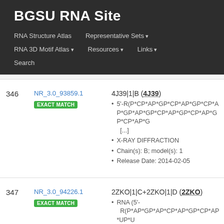BGSU RNA Site
RNA Structure Atlas | Representative Sets ▾ | RNA 3D Motif Atlas ▾ | Resources ▾ | Links ▾ | Search
| # | ID | Details |
| --- | --- | --- |
| 346 | NR_3.0_93859.1
EXACT MATCH | 4J39|1|B (4J39)
• 5'-R(P*CP*AP*GP*CP*AP*GP*CP*AP*GP*AP*GP*CP*AP*GP*CP*AP*GP*CP*AP*G [...]
• X-RAY DIFFRACTION
• Chain(s): B; model(s): 1
• Release Date: 2014-02-05 |
| 347 | NR_3.0_94226.1
EXACT MATCH | 2ZKO|1|C+2ZKO|1|D (2ZKO)
• RNA (5'-R(P*AP*GP*AP*CP*AP*GP*CP*AP*UP*U
• X-RAY DIFFRACTION
• Chain(s): C, D, F; model(s): 1
• Release Date: 2008-10-14 |